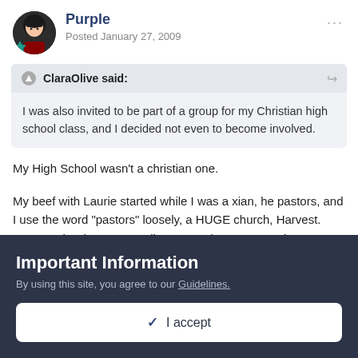Purple
Posted January 27, 2009
I was also invited to be part of a group for my Christian high school class, and I decided not even to become involved.
My High School wasn't a christian one.
My beef with Laurie started while I was a xian, he pastors, and I use the word "pastors" loosely, a HUGE church, Harvest. Because he doesn't actaully pastor when a person has any kind of a
Important Information
By using this site, you agree to our Guidelines.
✓  I accept